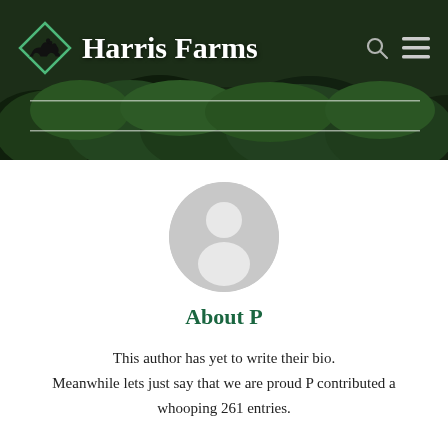Harris Farms
[Figure (illustration): Default user avatar placeholder — grey circle with silhouette of a person]
About P
This author has yet to write their bio. Meanwhile lets just say that we are proud P contributed a whooping 261 entries.